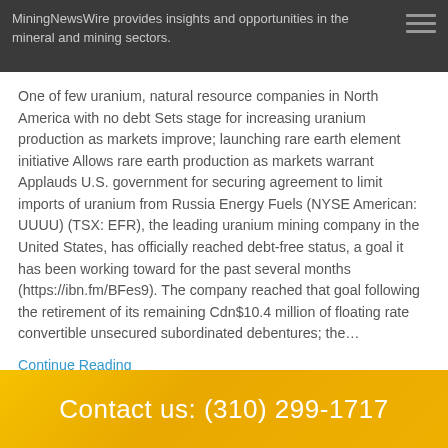MiningNewsWire provides insights and opportunities in the mineral and mining sectors.
One of few uranium, natural resource companies in North America with no debt Sets stage for increasing uranium production as markets improve; launching rare earth element initiative Allows rare earth production as markets warrant Applauds U.S. government for securing agreement to limit imports of uranium from Russia Energy Fuels (NYSE American: UUUU) (TSX: EFR), the leading uranium mining company in the United States, has officially reached debt-free status, a goal it has been working toward for the past several months (https://ibn.fm/BFes9). The company reached that goal following the retirement of its remaining Cdn$10.4 million of floating rate convertible unsecured subordinated debentures; the...
Continue Reading
Contact us: (310) 299-1717